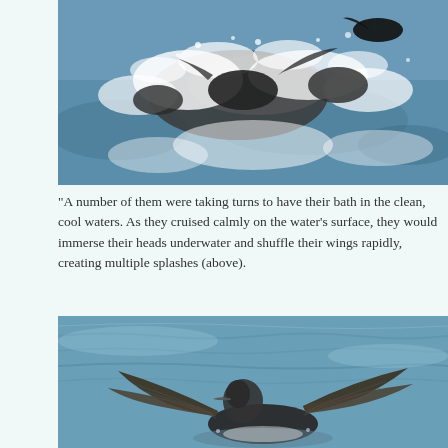[Figure (photo): Birds (cormorants or similar waterfowl) splashing vigorously in blue water, creating large white water splashes. Multiple birds visible.]
“A number of them were taking turns to have their bath in the clean, cool waters. As they cruised calmly on the water’s surface, they would immerse their heads underwater and shuffle their wings rapidly, creating multiple splashes (above).
[Figure (photo): A single large bird (cormorant or similar) spreading its wings wide on the water surface, with blue rippled water in the background.]